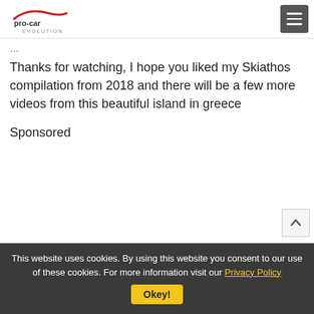pro-car evolution
Thanks for watching, I hope you liked my Skiathos compilation from 2018 and there will be a few more videos from this beautiful island in greece
Sponsored
This website uses cookies. By using this website you consent to our use of these cookies. For more information visit our Privacy Policy  Okey!